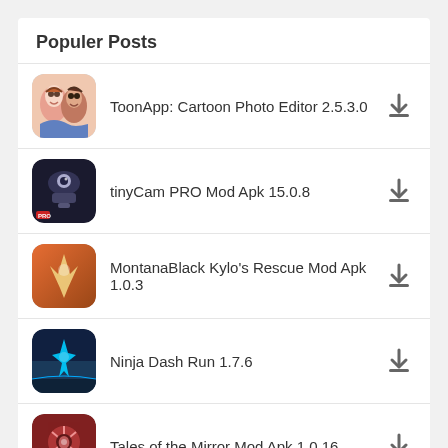Populer Posts
ToonApp: Cartoon Photo Editor 2.5.3.0
tinyCam PRO Mod Apk 15.0.8
MontanaBlack Kylo's Rescue Mod Apk 1.0.3
Ninja Dash Run 1.7.6
Tales of the Mirror Mod Apk 1.0.16
Latest Mod APK, Games & Premium Apps Store
ApkModsApp is a one-stop destination to download The latest